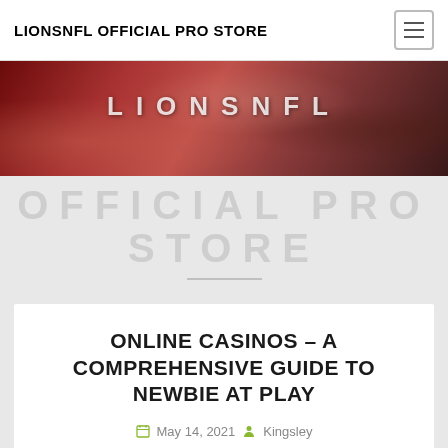LIONSNFL OFFICIAL PRO STORE
[Figure (photo): Red-toned casino bar scene with people socializing, overlaid with large white text 'LIONSNFL' and below in gray 'OFFICIAL PRO STORE' as a watermark]
ONLINE CASINOS – A COMPREHENSIVE GUIDE TO NEWBIE AT PLAY
May 14, 2021  Kingsley